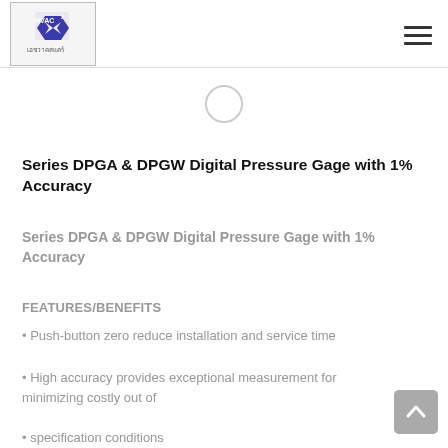HVAC² เอชวาคสแคร์ [logo] [hamburger menu]
[Figure (other): A circular spinner/loading indicator partially visible at the top center of the content area]
Series DPGA & DPGW Digital Pressure Gage with 1% Accuracy
Series DPGA & DPGW Digital Pressure Gage with 1% Accuracy
FEATURES/BENEFITS
• Push-button zero reduce installation and service time
• High accuracy provides exceptional measurement for minimizing costly out of
• specification conditions